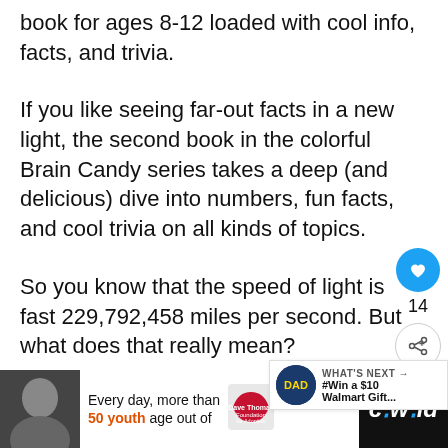book for ages 8-12 loaded with cool info, facts, and trivia.
If you like seeing far-out facts in a new light, the second book in the colorful Brain Candy series takes a deep (and delicious) dive into numbers, fun facts, and cool trivia on all kinds of topics.
So you know that the speed of light is fast 229,792,458 miles per second. But what does that really mean?
[Figure (infographic): Social sharing widget with heart/like button showing count 14 and a share button]
[Figure (infographic): WHAT'S NEXT promotional widget with DAD logo and text #Win a $10 Walmart Gift...]
[Figure (infographic): Bottom advertisement bar: photo of woman, Dave Thomas Foundation for Adoption ad with text 'Every day, more than 50 youth age out of', close button, and cwild branding]